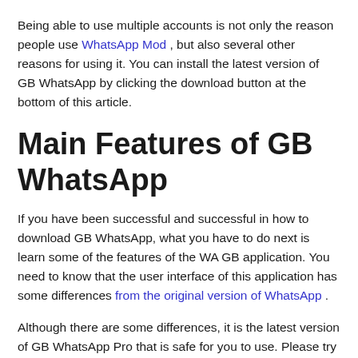Being able to use multiple accounts is not only the reason people use WhatsApp Mod , but also several other reasons for using it. You can install the latest version of GB WhatsApp by clicking the download button at the bottom of this article.
Main Features of GB WhatsApp
If you have been successful and successful in how to download GB WhatsApp, what you have to do next is learn some of the features of the WA GB application. You need to know that the user interface of this application has some differences from the original version of WhatsApp .
Although there are some differences, it is the latest version of GB WhatsApp Pro that is safe for you to use. Please try these new features one by one. If you already know the functions of these features, feel free to use